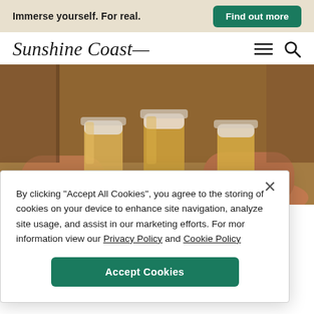Immerse yourself. For real.   Find out more
Sunshine Coast
[Figure (photo): Hands clinking glasses of beer together in a toast at a bar or brewery, warm amber/golden beer visible in the glasses.]
By clicking “Accept All Cookies”, you agree to the storing of cookies on your device to enhance site navigation, analyze site usage, and assist in our marketing efforts. For mor information view our Privacy Policy and Cookie Policy
Accept Cookies